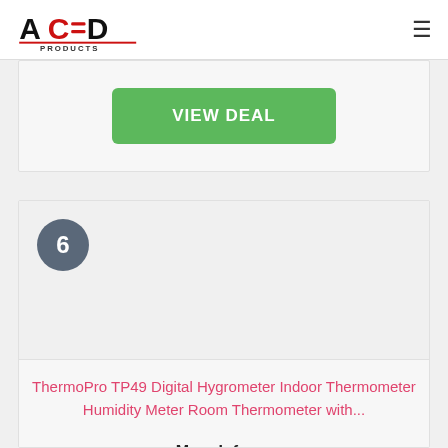ACED PRODUCTS
[Figure (other): Green VIEW DEAL button inside a light gray card section]
6
ThermoPro TP49 Digital Hygrometer Indoor Thermometer Humidity Meter Room Thermometer with...
More Info ▼